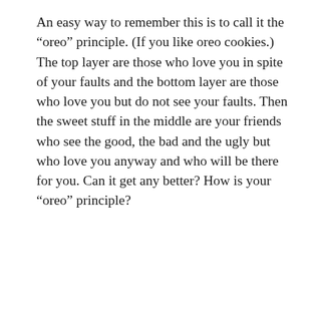An easy way to remember this is to call it the “oreo” principle. (If you like oreo cookies.) The top layer are those who love you in spite of your faults and the bottom layer are those who love you but do not see your faults. Then the sweet stuff in the middle are your friends who see the good, the bad and the ugly but who love you anyway and who will be there for you. Can it get any better? How is your “oreo” principle?